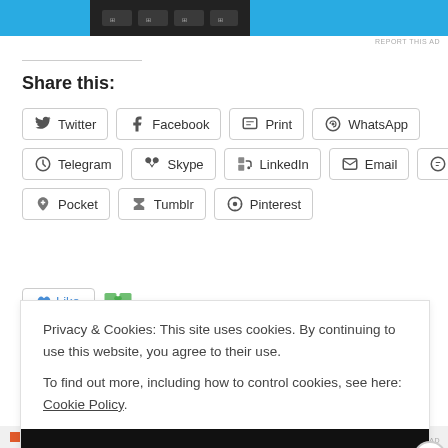[Figure (screenshot): Top advertisement banner with blue and dark sections]
Share this:
Twitter  Facebook  Print  WhatsApp  Telegram  Skype  LinkedIn  Email  Reddit  Pocket  Tumblr  Pinterest
Privacy & Cookies: This site uses cookies. By continuing to use this website, you agree to their use.
To find out more, including how to control cookies, see here: Cookie Policy
Close and accept